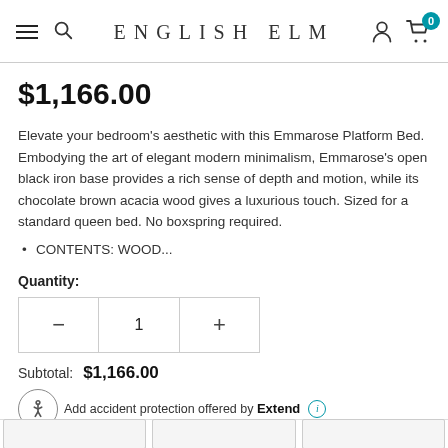ENGLISH ELM
$1,166.00
Elevate your bedroom's aesthetic with this Emmarose Platform Bed. Embodying the art of elegant modern minimalism, Emmarose's open black iron base provides a rich sense of depth and motion, while its chocolate brown acacia wood gives a luxurious touch. Sized for a standard queen bed. No boxspring required.
CONTENTS: WOOD...
Quantity:
1
Subtotal: $1,166.00
Add accident protection offered by Extend